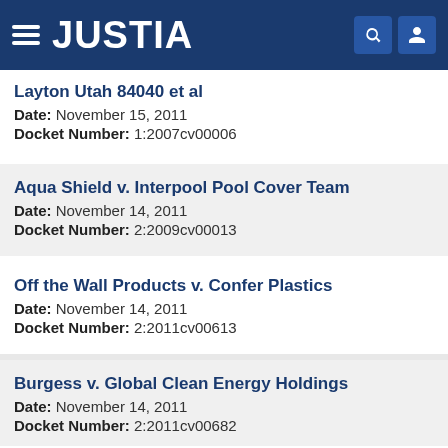JUSTIA
Layton Utah 84040 et al
Date: November 15, 2011
Docket Number: 1:2007cv00006
Aqua Shield v. Interpool Pool Cover Team
Date: November 14, 2011
Docket Number: 2:2009cv00013
Off the Wall Products v. Confer Plastics
Date: November 14, 2011
Docket Number: 2:2011cv00613
Burgess v. Global Clean Energy Holdings
Date: November 14, 2011
Docket Number: 2:2011cv00682